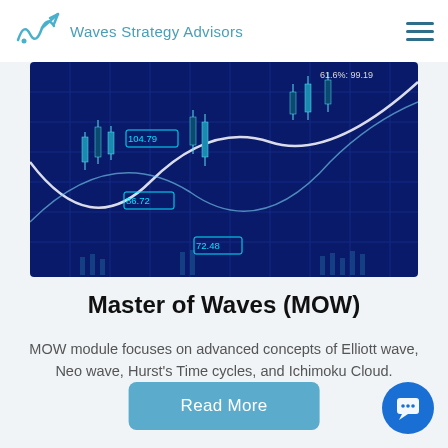Waves Strategy Advisors
[Figure (screenshot): Financial trading chart with candlesticks, wave overlays, and price labels including 61.6%: 99.19, 104.79, 86.72, 72.48 on a dark blue background]
Master of Waves (MOW)
MOW module focuses on advanced concepts of Elliott wave, Neo wave, Hurst's Time cycles, and Ichimoku Cloud.
Read More